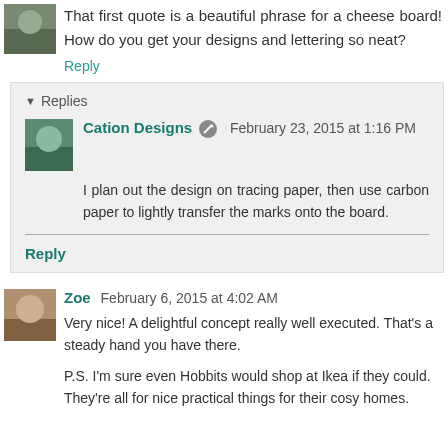That first quote is a beautiful phrase for a cheese board! How do you get your designs and lettering so neat?
Reply
Replies
Cation Designs  February 23, 2015 at 1:16 PM
I plan out the design on tracing paper, then use carbon paper to lightly transfer the marks onto the board.
Reply
Zoe  February 6, 2015 at 4:02 AM
Very nice! A delightful concept really well executed. That's a steady hand you have there.
P.S. I'm sure even Hobbits would shop at Ikea if they could. They're all for nice practical things for their cosy homes.